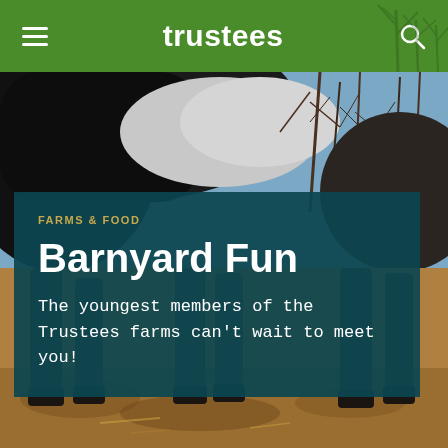trustees
[Figure (photo): Background photo of farm animals (cows/donkeys) in a barnyard with dirt ground and bare trees in background]
FARMS & FOOD
Barnyard Fun
The youngest members of the Trustees farms can't wait to meet you!